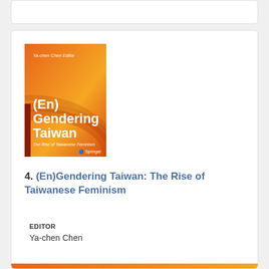[Figure (illustration): Book cover of (En)Gendering Taiwan: The Rise of Taiwanese Feminism, edited by Ya-chen Chen. Published by Springer. Cover has orange and red gradient background with large white text showing the book title and subtitle.]
4. (En)Gendering Taiwan: The Rise of Taiwanese Feminism
EDITOR
Ya-chen Chen